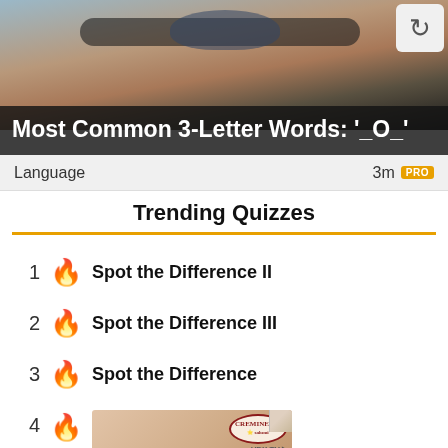[Figure (photo): Close-up photo of a person wearing sunglasses, cropped to show upper face]
Most Common 3-Letter Words: '_O_'
Language    3m
Trending Quizzes
1 Spot the Difference II
2 Spot the Difference III
3 Spot the Difference
4
[Figure (photo): Advertisement image with Creminelli brand logo and VDX.TV label]